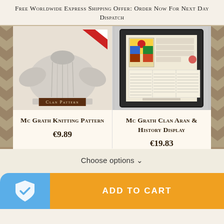Free Worldwide Express Shipping Offer: Order Now For Next Day Dispatch
[Figure (photo): Aran knitting sweater pattern product image with 'Clan Pattern' label overlay]
[Figure (photo): Framed clan history display with heraldic crest and text documents]
Mc Grath Knitting Pattern
€9.89
Mc Grath Clan Aran & History Display
€19.83
Choose options ∨
ADD TO CART